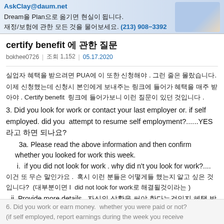[Figure (other): Advertisement banner with Korean text and a photo of a man in a suit. Shows AskClay@daum.net email, Korean text about moving dreams to a plan, and phone number (213) 908-3392]
certify benefit 에 관한 질문
bokhee0726  |  조회 1,152  |  05.17.2020
실업자 혜택을 받으려면 PUA에 이 또한 신청해야 . 그런 줄은 몰랐습니다.
이제 신청했는데 신청시 본인에게 보내주는 링크에 들어가 혜택을 매주 받아야 . Certify benefit  링크에 들어가보니 이런 질문이 있던 것입니다 .
3. Did you look for work or contact your last employer or. if self employed. did you  attempt to resume self employment?......YES 라고 하면 되나요?
3a. Please read the above information and then confirm whether you looked for work this week.
i.  if you did not look for work . why did n't you look for work?....
이건 또 무슨 말인가요 .  혹시 이런 분들은 어떻게들 했는지 알고 싶은 것입니다?  (대부분이면 I  did not look for work로 해결될것이라는 )
ii. Provide more details...자신의 상황을 써야 한다는것인지 혜택 받는 동안 안 받으려는 이유를 써야 한다는 것인지 그래야 한다는 것인지?
6. Did you work or earn money.  whether you were paid or not?
(if self employed, report earnings during the week you receive